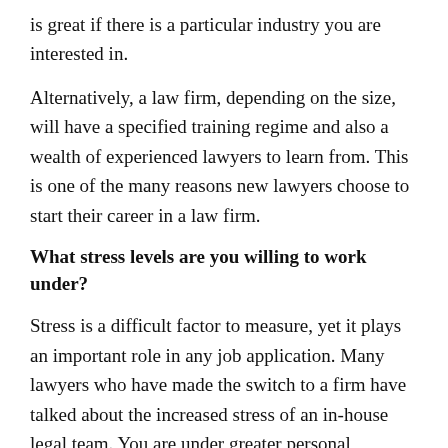is great if there is a particular industry you are interested in.
Alternatively, a law firm, depending on the size, will have a specified training regime and also a wealth of experienced lawyers to learn from. This is one of the many reasons new lawyers choose to start their career in a law firm.
What stress levels are you willing to work under?
Stress is a difficult factor to measure, yet it plays an important role in any job application. Many lawyers who have made the switch to a firm have talked about the increased stress of an in-house legal team. You are under greater personal responsibility than in a firm despite the fewer hours you are expected to work.